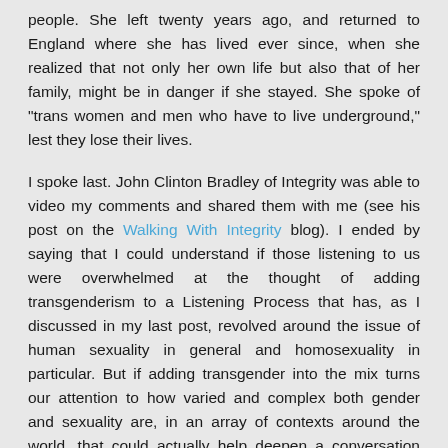people. She left twenty years ago, and returned to England where she has lived ever since, when she realized that not only her own life but also that of her family, might be in danger if she stayed. She spoke of "trans women and men who have to live underground," lest they lose their lives.
I spoke last. John Clinton Bradley of Integrity was able to video my comments and shared them with me (see his post on the Walking With Integrity blog). I ended by saying that I could understand if those listening to us were overwhelmed at the thought of adding transgenderism to a Listening Process that has, as I discussed in my last post, revolved around the issue of human sexuality in general and homosexuality in particular. But if adding transgender into the mix turns our attention to how varied and complex both gender and sexuality are, in an array of contexts around the world, that could actually help deepen a conversation that has gotten stuck in an overly either/or loop.
After all the presentations were finished, Christina asked if one